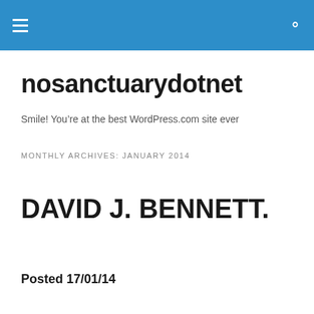nosanctuarydotnet — site header bar with hamburger menu and search icon
nosanctuarydotnet
Smile! You’re at the best WordPress.com site ever
MONTHLY ARCHIVES: JANUARY 2014
DAVID J. BENNETT.
Posted 17/01/14